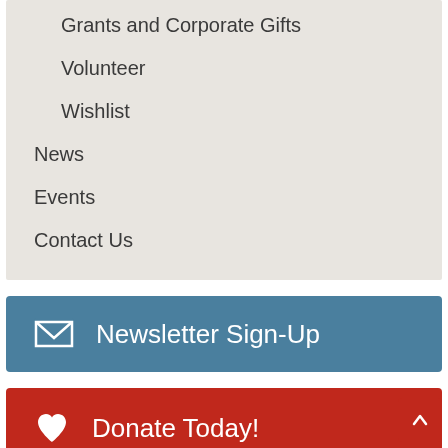Grants and Corporate Gifts
Volunteer
Wishlist
News
Events
Contact Us
Newsletter Sign-Up
Donate Today!